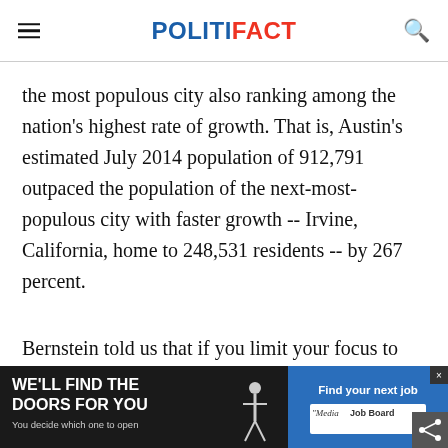POLITIFACT
the most populous city also ranking among the nation's highest rate of growth. That is, Austin's estimated July 2014 population of 912,791 outpaced the population of the next-most-populous city with faster growth -- Irvine, California, home to 248,531 residents -- by 267 percent.
Bernstein told us that if you limit your focus to cities of 250,000 residents or more, Austin ranked No. 1 in its percentage growth over 2010-
[Figure (infographic): Advertisement banner at bottom: 'WE'LL FIND THE DOORS FOR YOU / You decide which one to open' on dark background (left), and 'Find your next job / Media Job Board' on blue background (right), with a small silhouetted figure, close button (x), and share icon.]